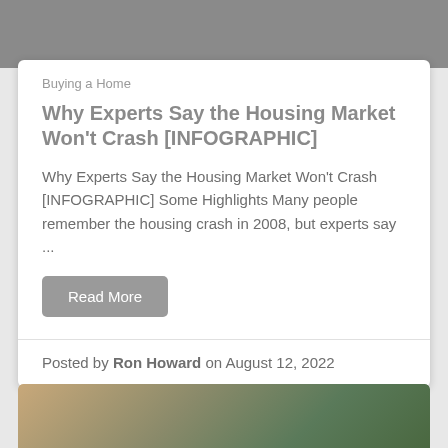[Figure (photo): Gray/dark image strip at top of page, partially cropped]
Buying a Home
Why Experts Say the Housing Market Won't Crash [INFOGRAPHIC]
Why Experts Say the Housing Market Won't Crash [INFOGRAPHIC] Some Highlights Many people remember the housing crash in 2008, but experts say ...
Read More
Posted by Ron Howard on August 12, 2022
[Figure (photo): Photo of a woman and plants visible at bottom of page, partially cropped]